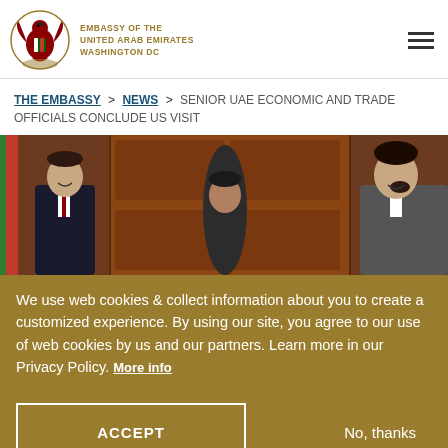EMBASSY OF THE UNITED ARAB EMIRATES WASHINGTON DC
THE EMBASSY > NEWS > SENIOR UAE ECONOMIC AND TRADE OFFICIALS CONCLUDE US VISIT
[Figure (photo): Group photo of UAE officials standing in front of wooden paneled door]
We use web cookies & collect information about you to create a customized experience. By using our site, you agree to our use of web cookies by us and our partners. Learn more in our Privacy Policy. More info
ACCEPT
No, thanks